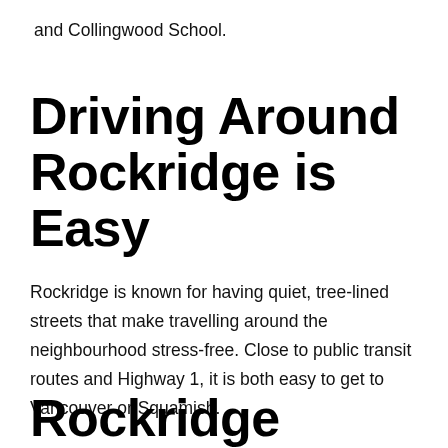and Collingwood School.
Driving Around Rockridge is Easy
Rockridge is known for having quiet, tree-lined streets that make travelling around the neighbourhood stress-free. Close to public transit routes and Highway 1, it is both easy to get to Vancouver or Squamish.
Rockridge